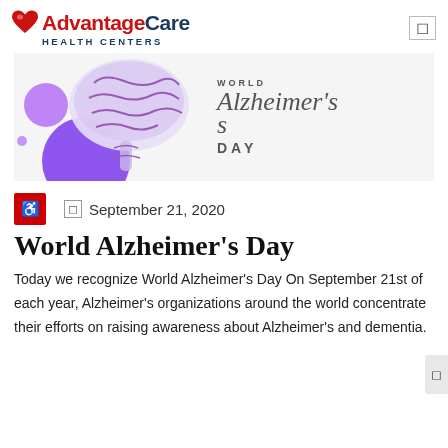[Figure (logo): AdvantageCare Health Centers logo with red heart icon, 'Advantage' in red, 'Care' in dark blue, 'HEALTH CENTERS' in dark blue below]
[Figure (illustration): World Alzheimer's Day banner: illustrated brain with purple circles on left side, text 'WORLD Alzheimer's DAY' in stylized font on right]
September 21, 2020
World Alzheimer's Day
Today we recognize World Alzheimer's Day On September 21st of each year, Alzheimer's organizations around the world concentrate their efforts on raising awareness about Alzheimer's and dementia.